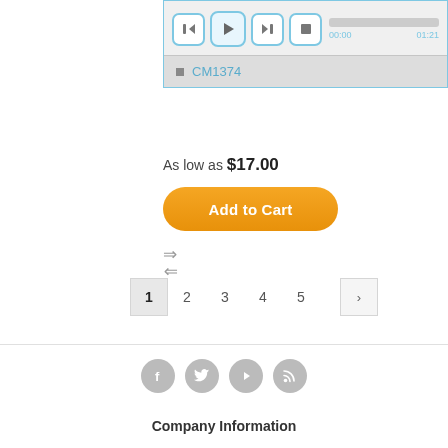[Figure (screenshot): Audio/media player widget with rewind, play, fast-forward, stop buttons and a progress bar showing 00:00 to 01:21, with a track list item CM1374]
As low as $17.00
Add to Cart
Page navigation: 1 2 3 4 5 >
[Figure (infographic): Social media icons: Facebook, Twitter, YouTube, RSS]
Company Information